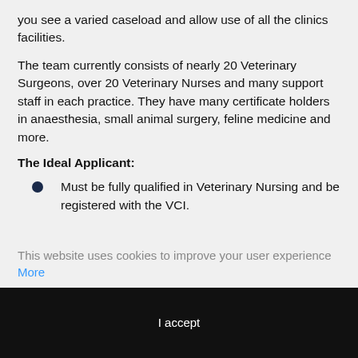you see a varied caseload and allow use of all the clinics facilities.
The team currently consists of nearly 20 Veterinary Surgeons, over 20 Veterinary Nurses and many support staff in each practice. They have many certificate holders in anaesthesia, small animal surgery, feline medicine and more.
The Ideal Applicant:
Must be fully qualified in Veterinary Nursing and be registered with the VCI.
This website uses cookies to improve your user experience More
I accept